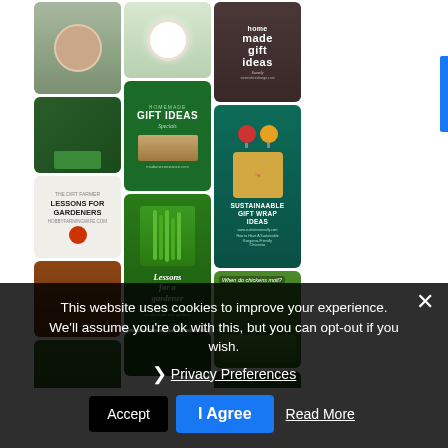[Figure (screenshot): Pinterest-style grid of gardening and gift idea pin images arranged in three columns. Images include: person talking (video thumbnail), white flower, homemade gift ideas text on dark background, green homemade gift ideas card, tractor in field, sustainable gift wrap ideas with kangaroo illustration, lessons for gardeners with tractor, red/brown soil, fall planting for the garden text, asparagus/green leaves with 'Lessons for a gardener', green grass/lawn with 'When do chickens molt?', and bottom row partial thumbnails.]
This website uses cookies to improve your experience. We'll assume you're ok with this, but you can opt-out if you wish.
Privacy Preferences
Accept
I Agree
Read More